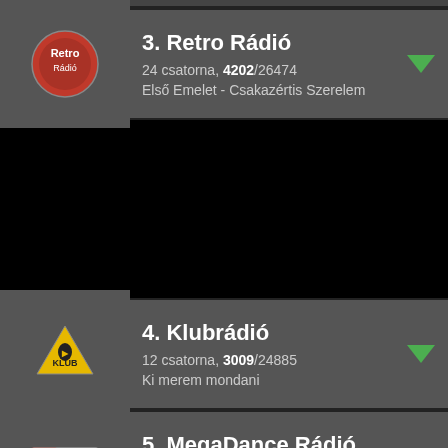3. Retro Rádió — 24 csatorna, 4202/26474 — Első Emelet - Csakazértis Szerelem
[Figure (other): Black section (expanded content area)]
4. Klubrádió — 12 csatorna, 3009/24885 — Ki merem mondani
5. MegaDance Rádió — 4 csatorna, 1685/11236 — Baltimora - Woody Boogie
6. Petőfi Rádió — 42 csatorna, 1006/11035 — Halott Pénz - Gazdag vagy szegény